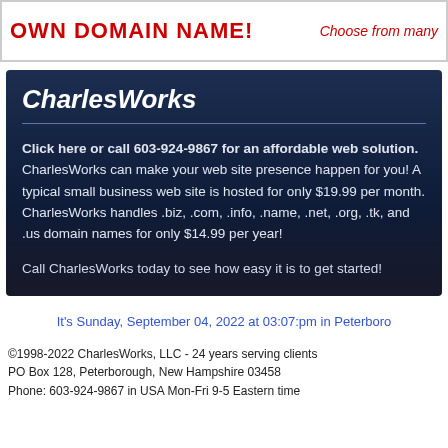OWN DOMAIN NAME! Choose from many
CharlesWorks
Click here or call 603-924-9867 for an affordable web solution. CharlesWorks can make your web site presence happen for you! A typical small business web site is hosted for only $19.99 per month. CharlesWorks handles .biz, .com, .info, .name, .net, .org, .tk, and .us domain names for only $14.99 per year!
Call CharlesWorks today to see how easy it is to get started!
It's Sunday, September 04, 2022 at 03:07:pm in Peterboro
©1998-2022 CharlesWorks, LLC - 24 years serving clients
PO Box 128, Peterborough, New Hampshire 03458
Phone: 603-924-9867 in USA Mon-Fri 9-5 Eastern time